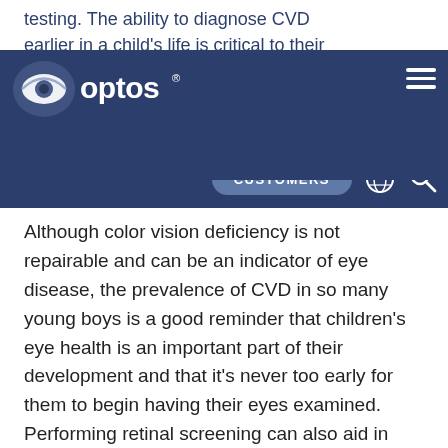testing. The ability to diagnose CVD earlier in a child's life is critical to their learning, and it may be something to consider for your young patients.
[Figure (logo): Optos logo: eye icon with 'optos' wordmark and registered trademark symbol, white on dark navy background]
CUSTOMERS
Although color vision deficiency is not repairable and can be an indicator of eye disease, the prevalence of CVD in so many young boys is a good reminder that children's eye health is an important part of their development and that it's never too early for them to begin having their eyes examined. Performing retinal screening can also aid in early detection of other vision issues.